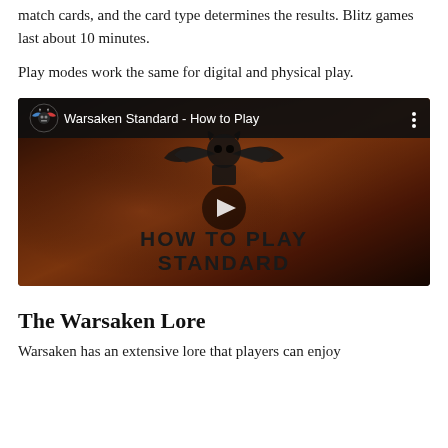match cards, and the card type determines the results. Blitz games last about 10 minutes.
Play modes work the same for digital and physical play.
[Figure (screenshot): YouTube video thumbnail for 'Warsaken Standard - How to Play' showing a dark reddish-brown background with a winged skull logo and text 'HOW TO PLAY STANDARD' in bold black letters, with a play button in the center.]
The Warsaken Lore
Warsaken has an extensive lore that players can enjoy